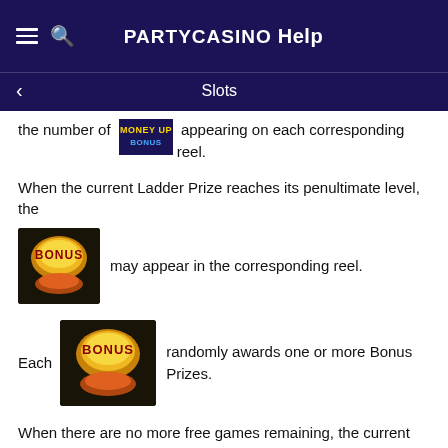PARTYCASINO Help
Slots
the number of [BONUS symbol] appearing on each corresponding reel.
When the current Ladder Prize reaches its penultimate level, the [BONUS symbol] may appear in the corresponding reel.
Each [BONUS symbol] randomly awards one or more Bonus Prizes.
When there are no more free games remaining, the current highlighted Ladder Prizes are awarded.
Bet and lines played are the same as the game that triggered the MONEY UP FEATURE
Last modification date: 11/17/2021